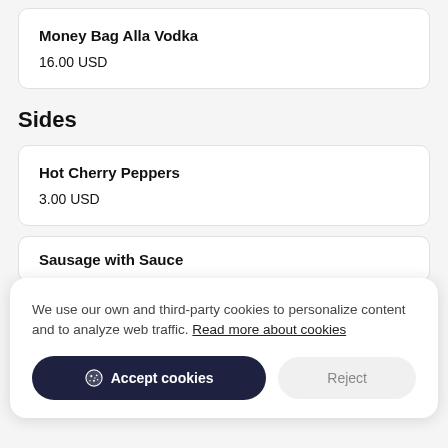Money Bag Alla Vodka
16.00 USD
Sides
Hot Cherry Peppers
3.00 USD
We use our own and third-party cookies to personalize content and to analyze web traffic. Read more about cookies
Accept cookies
Reject
Sausage with Sauce